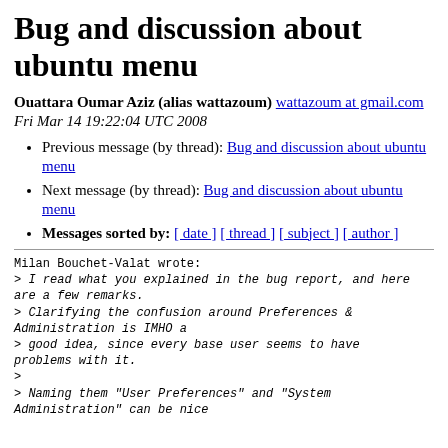Bug and discussion about ubuntu menu
Ouattara Oumar Aziz (alias wattazoum) wattazoum at gmail.com
Fri Mar 14 19:22:04 UTC 2008
Previous message (by thread): Bug and discussion about ubuntu menu
Next message (by thread): Bug and discussion about ubuntu menu
Messages sorted by: [ date ] [ thread ] [ subject ] [ author ]
Milan Bouchet-Valat wrote:
> I read what you explained in the bug report, and here are a few remarks.
> Clarifying the confusion around Preferences & Administration is IMHO a
> good idea, since every base user seems to have problems with it.
>
> Naming them "User Preferences" and "System Administration" can be nice
> since with out to be do la done. The above can i